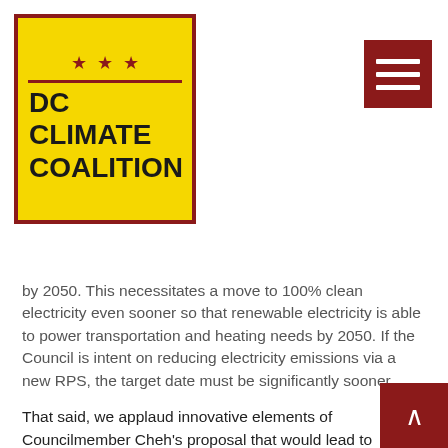[Figure (logo): DC Climate Coalition logo: yellow box with red star border, stars across top, red horizontal line, text DC CLIMATE COALITION in bold dark letters]
by 2050. This necessitates a move to 100% clean electricity even sooner so that renewable electricity is able to power transportation and heating needs by 2050. If the Council is intent on reducing electricity emissions via a new RPS, the target date must be significantly sooner.
That said, we applaud innovative elements of Councilmember Cheh's proposal that would lead to additional clean energy development in the region, and push Pepco-Exelon to green its energy mix faster.
We also applaud her approach to transportation mirrors our own. The final bill should specify that DC will...